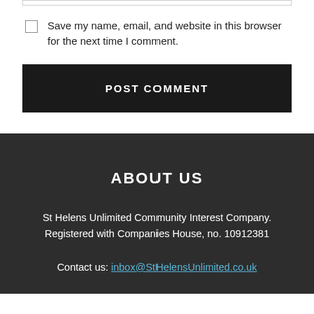Save my name, email, and website in this browser for the next time I comment.
POST COMMENT
ABOUT US
St Helens Unlimited Community Interest Company. Registered with Companies House, no. 10912381
Contact us: inbox@StHelensUnlimited.co.uk